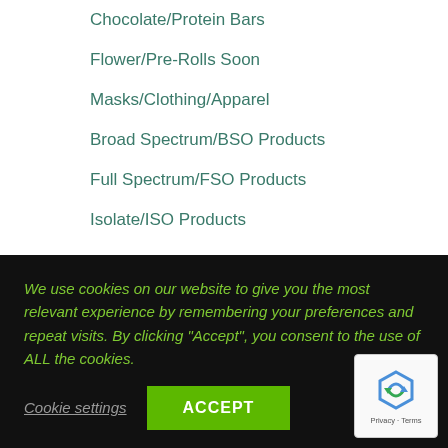Chocolate/Protein Bars
Flower/Pre-Rolls Soon
Masks/Clothing/Apparel
Broad Spectrum/BSO Products
Full Spectrum/FSO Products
Isolate/ISO Products
Product Tags
Blueberry   Blue Raspberry   Broad Spectrum   BSO
Cannabinoid   CBD   D8   Daily Dose   Delta-8   Drops
We use cookies on our website to give you the most relevant experience by remembering your preferences and repeat visits. By clicking “Accept”, you consent to the use of ALL the cookies.
Cookie settings   ACCEPT